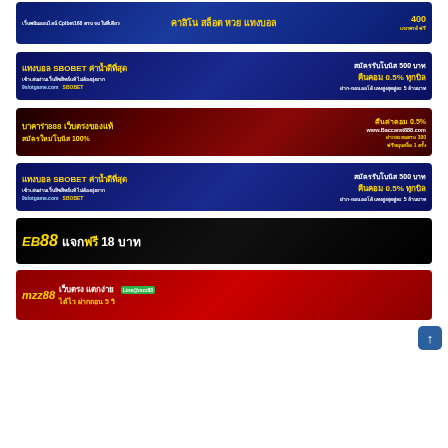[Figure (photo): Banner ad for Cplbet168 online casino - Thai language, dark blue background, promoting casino, slots, lottery, football betting, free bonus 400, iPhone prize]
[Figure (photo): Banner ad for SBOBET via 9slotgame.com - Thai language, dark blue background, football players, sign up bonus 500 baht, 0.5% cashback every bill]
[Figure (photo): Banner ad for Baccarat888 - Thai language, red/dark background, new member bonus 100%, 0.5% cashback, www.Baccarat888.com, deposit 300 get 1 free spin]
[Figure (photo): Banner ad for SBOBET via 9slotgame.com - Thai language, dark blue background, football players, sign up bonus 500 baht, 0.5% cashback every bill (duplicate of banner 2)]
[Figure (photo): Banner ad for EB88 - black background with woman, EB88 logo in yellow, text: แจกฟรี 18 บาท (Free gift 18 baht)]
[Figure (photo): Banner ad for mzz88 - red background with gold accents, Thai text: เว็บตรง แตกง่าย ได้ไว ฝากถอน 5 วิ, Line@mzz88]